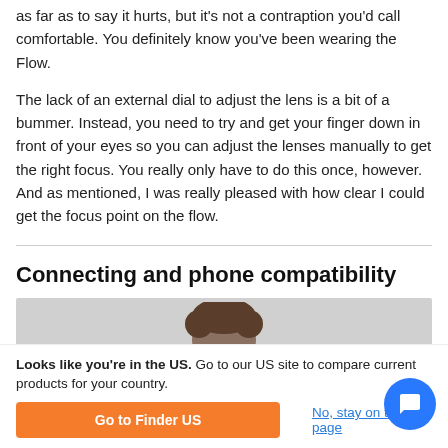as far as to say it hurts, but it's not a contraption you'd call comfortable. You definitely know you've been wearing the Flow.
The lack of an external dial to adjust the lens is a bit of a bummer. Instead, you need to try and get your finger down in front of your eyes so you can adjust the lenses manually to get the right focus. You really only have to do this once, however. And as mentioned, I was really pleased with how clear I could get the focus point on the flow.
Connecting and phone compatibility
[Figure (photo): Partial photo of a person's head/face from approximately chin up, against a light gray background.]
Looks like you're in the US. Go to our US site to compare current products for your country.
Go to Finder US
No, stay on this page